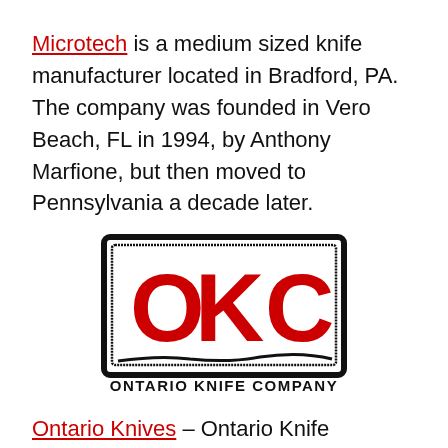Microtech is a medium sized knife manufacturer located in Bradford, PA. The company was founded in Vero Beach, FL in 1994, by Anthony Marfione, but then moved to Pennsylvania a decade later.
[Figure (logo): OKC Ontario Knife Company logo — large red letters OKC inside a rough black rectangular border, with ONTARIO KNIFE COMPANY text below in bold black.]
Ontario Knives – Ontario Knife Company is an American knife manufacturer originally from Ontario County, New York. The company was